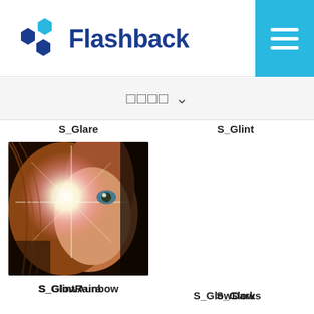Flashback
□□□□ ∨
S_Glare
S_Glint
[Figure (photo): Close-up photo of a woman's face with a bright glowing flare/rainbow light effect overlaid, creating a glowing ethereal look against a dark background]
S_GlintRainbow
S_Glow
S_GlowAura
S_GlowDarks